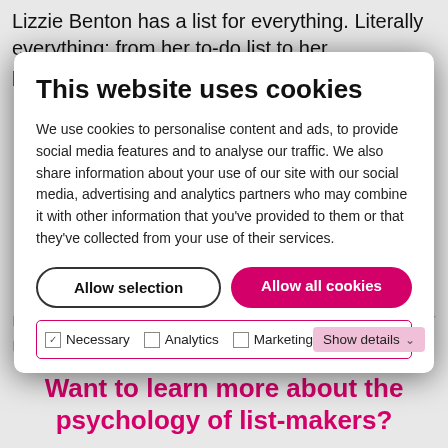Lizzie Benton has a list for everything. Literally everything: from her to-do list to her professional goals to date nights
[Figure (screenshot): Cookie consent modal dialog with title 'This website uses cookies', body text about cookie usage, two buttons (Allow selection, Allow all cookies), and a checkbox row for Necessary, Analytics, Marketing with a Show details toggle.]
making it so good for productivity — as well as our mental health.
Want to learn more about the psychology of list-makers?